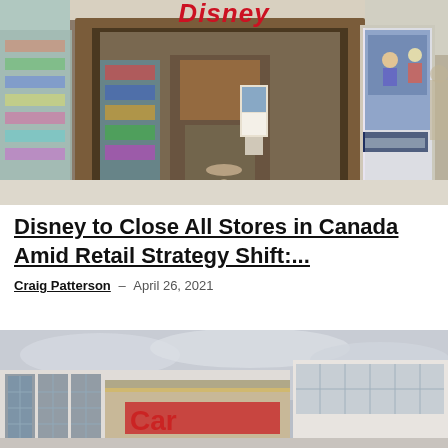[Figure (photo): Disney Store exterior inside a shopping mall, showing the Disney logo sign in red above a wooden-framed entrance with merchandise visible inside and a movie poster display to the right.]
Disney to Close All Stores in Canada Amid Retail Strategy Shift:...
Craig Patterson – April 26, 2021
[Figure (photo): Exterior of a large retail store building with glass facade and a partially visible red logo, photographed against an overcast sky.]